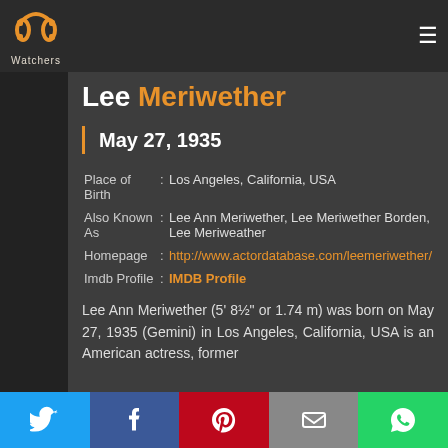PP Watchers (logo and navigation)
Lee Meriwether
May 27, 1935
| Field | sep | Value |
| --- | --- | --- |
| Place of Birth | : | Los Angeles, California, USA |
| Also Known As | : | Lee Ann Meriwether, Lee Meriwether Borden, Lee Meriweather |
| Homepage | : | http://www.actordatabase.com/leemeriwether/ |
| Imdb Profile | : | IMDB Profile |
Lee Ann Meriwether (5' 8½" or 1.74 m) was born on May 27, 1935 (Gemini) in Los Angeles, California, USA is an American actress, former
Twitter | Facebook | Pinterest | Email | WhatsApp